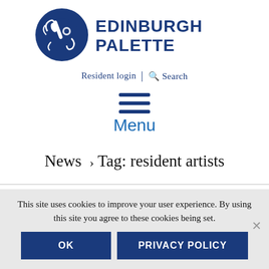[Figure (logo): Edinburgh Palette circular logo in blue and white showing art tools]
EDINBURGH PALETTE
Resident login  |  Search
[Figure (infographic): Hamburger menu icon with three horizontal blue lines]
Menu
News > Tag: resident artists
COMMUNITY YOGA CLASSES
This site uses cookies to improve your user experience. By using this site you agree to these cookies being set.
OK
PRIVACY POLICY